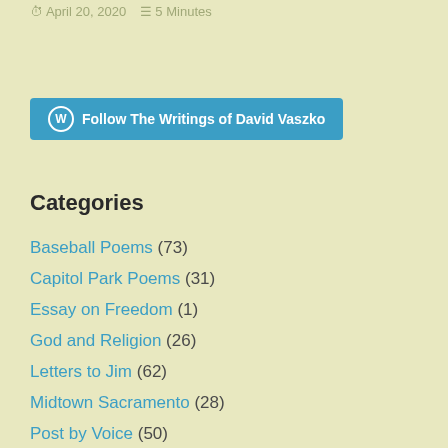April 20, 2020  5 Minutes
[Figure (other): Follow The Writings of David Vaszko WordPress follow button]
Categories
Baseball Poems (73)
Capitol Park Poems (31)
Essay on Freedom (1)
God and Religion (26)
Letters to Jim (62)
Midtown Sacramento (28)
Post by Voice (50)